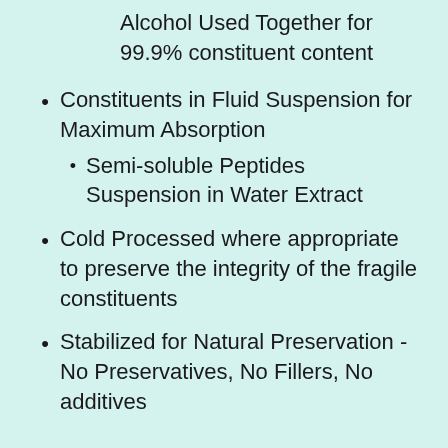Alcohol Used Together for 99.9% constituent content
Constituents in Fluid Suspension for Maximum Absorption
Semi-soluble Peptides Suspension in Water Extract
Cold Processed where appropriate to preserve the integrity of the fragile constituents
Stabilized for Natural Preservation - No Preservatives, No Fillers, No additives